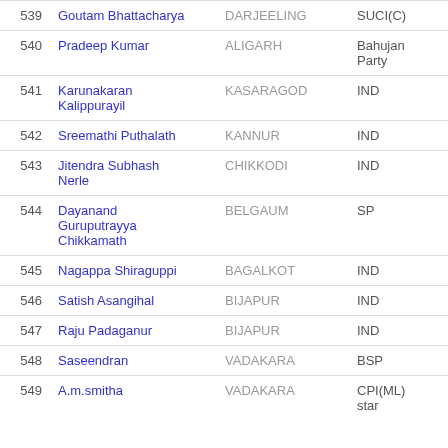| # | Name | Constituency | Party |
| --- | --- | --- | --- |
| 539 | Goutam Bhattacharya | DARJEELING | SUCI(C) |
| 540 | Pradeep Kumar | ALIGARH | Bahujan Party |
| 541 | Karunakaran Kalippurayil | KASARAGOD | IND |
| 542 | Sreemathi Puthalath | KANNUR | IND |
| 543 | Jitendra Subhash Nerle | CHIKKODI | IND |
| 544 | Dayanand Guruputrayya Chikkamath | BELGAUM | SP |
| 545 | Nagappa Shiraguppi | BAGALKOT | IND |
| 546 | Satish Asangihal | BIJAPUR | IND |
| 547 | Raju Padaganur | BIJAPUR | IND |
| 548 | Saseendran | VADAKARA | BSP |
| 549 | A.m.smitha | VADAKARA | CPI(ML) star |